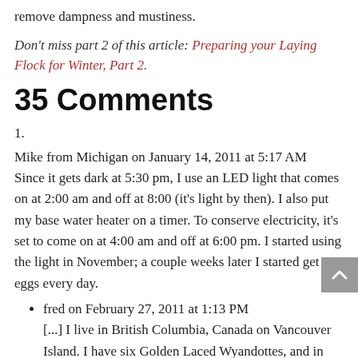remove dampness and mustiness.
Don't miss part 2 of this article: Preparing your Laying Flock for Winter, Part 2.
35 Comments
1.
Mike from Michigan on January 14, 2011 at 5:17 AM
Since it gets dark at 5:30 pm, I use an LED light that comes on at 2:00 am and off at 8:00 (it's light by then). I also put my base water heater on a timer. To conserve electricity, it's set to come on at 4:00 am and off at 6:00 pm. I started using the light in November; a couple weeks later I started get eggs every day.
fred on February 27, 2011 at 1:13 PM
[...] I live in British Columbia, Canada on Vancouver Island. I have six Golden Laced Wyandottes, and in May through Aug (the